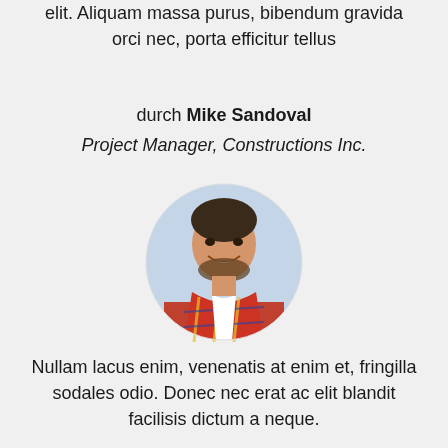elit. Aliquam massa purus, bibendum gravida orci nec, porta efficitur tellus
durch Mike Sandoval
Project Manager, Constructions Inc.
[Figure (photo): Circular profile photo of a smiling young man with short dark hair and beard, wearing a plaid shirt]
Nullam lacus enim, venenatis at enim et, fringilla sodales odio. Donec nec erat ac elit blandit facilisis dictum a neque.
durch Sam Peterson
Manager, Company Inc.
[Figure (photo): Circular profile photo partially visible at bottom of page]